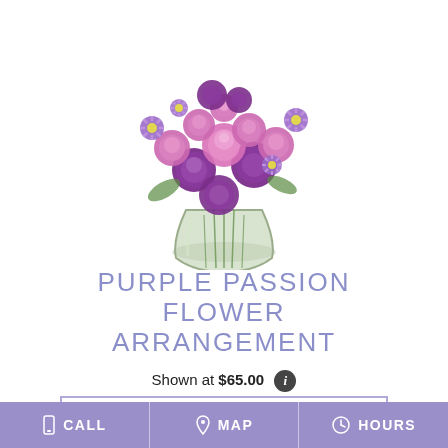[Figure (photo): A floral arrangement of purple and pink flowers including carnations, roses, and asters in a clear glass vase on a white background]
PURPLE PASSION FLOWER ARRANGEMENT
Shown at $65.00
BUY NOW
CALL   MAP   HOURS